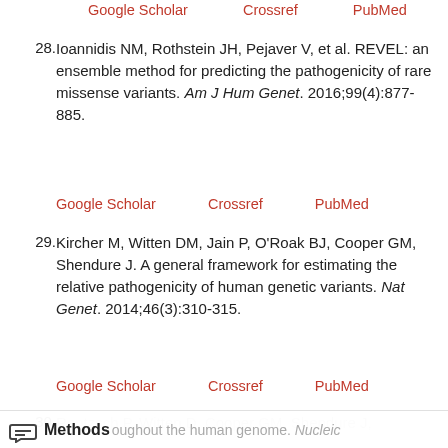Google Scholar   Crossref   PubMed
28. Ioannidis NM, Rothstein JH, Pejaver V, et al. REVEL: an ensemble method for predicting the pathogenicity of rare missense variants. Am J Hum Genet. 2016;99(4):877-885.
Google Scholar   Crossref   PubMed
29. Kircher M, Witten DM, Jain P, O'Roak BJ, Cooper GM, Shendure J. A general framework for estimating the relative pathogenicity of human genetic variants. Nat Genet. 2014;46(3):310-315.
Google Scholar   Crossref   PubMed
30. Rentzsch P, Witten D, Cooper GM, Shendure J, Kircher M. CADD: predicting the deleteriousness of variants throughout the human genome. Nucleic Acids Res. 2019;47(D1):D886-D894.